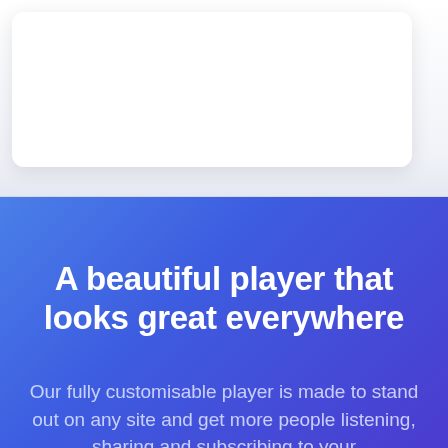[Figure (screenshot): White card UI element on light grey background in the top section of the page]
A beautiful player that looks great everywhere
Our fully customisable player is made to stand out on any site and get more people listening, sharing and subscribing to your